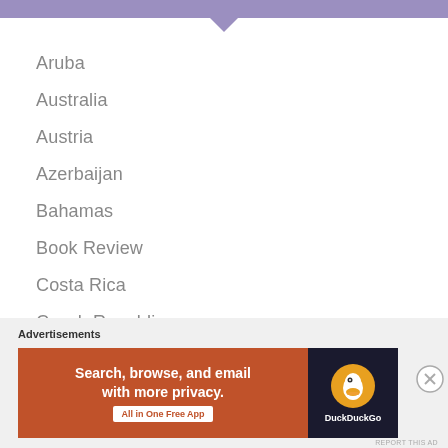Aruba
Australia
Austria
Azerbaijan
Bahamas
Book Review
Costa Rica
Czech Republic
Advertisements
[Figure (infographic): DuckDuckGo advertisement banner: 'Search, browse, and email with more privacy. All in One Free App' with DuckDuckGo logo on dark background.]